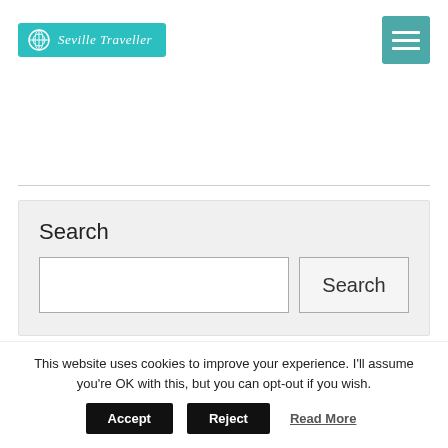Seville Traveller — website header with logo and hamburger menu
[Figure (screenshot): Search widget with a text input and Search button on a light grey background]
[Figure (screenshot): Additional widget box area, partially visible at bottom of content]
This website uses cookies to improve your experience. I'll assume you're OK with this, but you can opt-out if you wish.
Accept  Reject  Read More